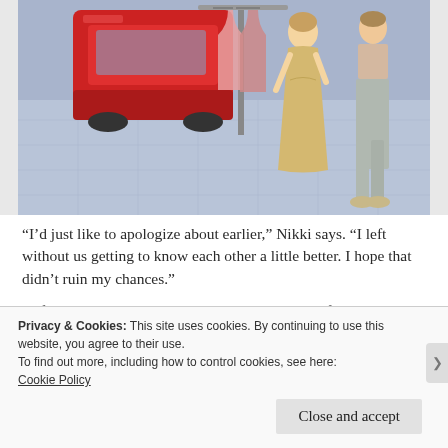[Figure (screenshot): Screenshot from The Sims video game showing a scene with animated characters near a red car on a purple/blue tiled floor background. A female character in a gold/beige dress and a male character in grey pants are visible.]
“I’d just like to apologize about earlier,” Nikki says. “I left without us getting to know each other a little better. I hope that didn’t ruin my chances.”
“Of course not,” Divan replies. “There’s plenty of time to chat. Ladies, if you’d please excuse me – I need to use the bathroom.”
Privacy & Cookies: This site uses cookies. By continuing to use this website, you agree to their use.
To find out more, including how to control cookies, see here: Cookie Policy
Close and accept